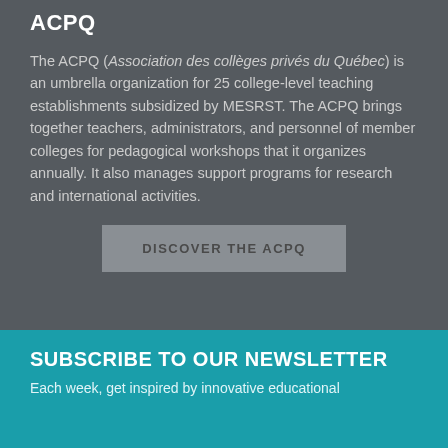ACPQ
The ACPQ (Association des collèges privés du Québec) is an umbrella organization for 25 college-level teaching establishments subsidized by MESRST. The ACPQ brings together teachers, administrators, and personnel of member colleges for pedagogical workshops that it organizes annually. It also manages support programs for research and international activities.
DISCOVER THE ACPQ
SUBSCRIBE TO OUR NEWSLETTER
Each week, get inspired by innovative educational